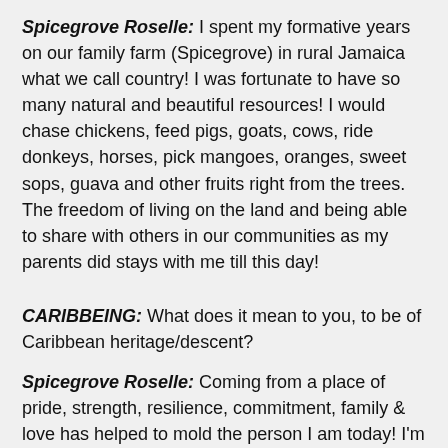Spicegrove Roselle: I spent my formative years on our family farm (Spicegrove) in rural Jamaica what we call country! I was fortunate to have so many natural and beautiful resources! I would chase chickens, feed pigs, goats, cows, ride donkeys, horses, pick mangoes, oranges, sweet sops, guava and other fruits right from the trees. The freedom of living on the land and being able to share with others in our communities as my parents did stays with me till this day!
CARIBBEING: What does it mean to you, to be of Caribbean heritage/descent?
Spicegrove Roselle: Coming from a place of pride, strength, resilience, commitment, family & love has helped to mold the person I am today! I'm so proud to carry our legacy of strong